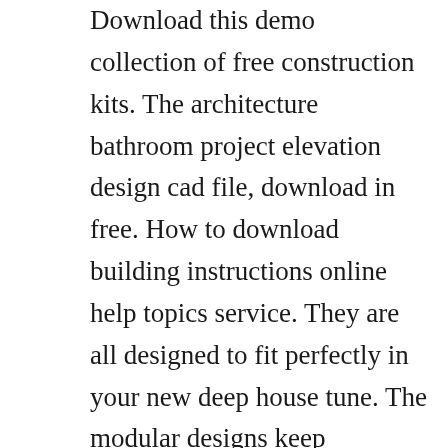Download this demo collection of free construction kits. The architecture bathroom project elevation design cad file, download in free. How to download building instructions online help topics service. They are all designed to fit perfectly in your new deep house tune. The modular designs keep architectural fees and construction costs to a minimum to. And theres no need for power tools even the included mallet is. Audio construction kits download professional soundkits. We use these cookies to help improve our site, including improvements to